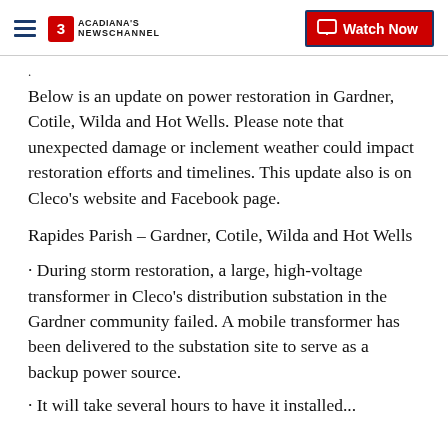Acadiana's Newschannel | Watch Now
Below is an update on power restoration in Gardner, Cotile, Wilda and Hot Wells. Please note that unexpected damage or inclement weather could impact restoration efforts and timelines. This update also is on Cleco's website and Facebook page.
Rapides Parish – Gardner, Cotile, Wilda and Hot Wells
· During storm restoration, a large, high-voltage transformer in Cleco's distribution substation in the Gardner community failed. A mobile transformer has been delivered to the substation site to serve as a backup power source.
· It will take several hours to have it installed...